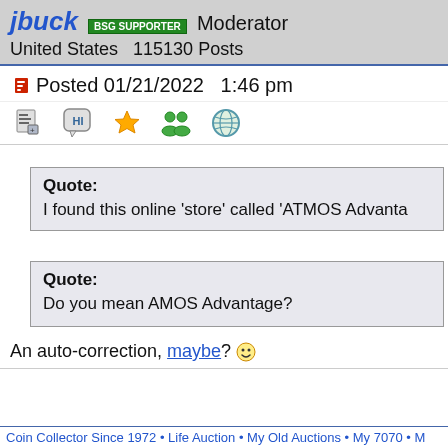jbuck  BSG SUPPORTER  Moderator
United States  115130 Posts
Posted 01/21/2022  1:46 pm
Quote:
I found this online 'store' called 'ATMOS Advanta
Quote:
Do you mean AMOS Advantage?
An auto-correction, maybe? ☺
Coin Collector Since 1972 • Life Auction • My Old Auctions • My 7070 • M